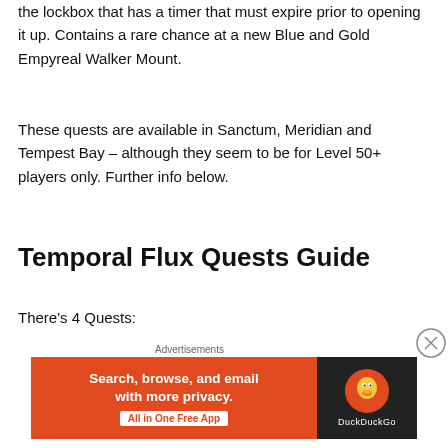the lockbox that has a timer that must expire prior to opening it up. Contains a rare chance at a new Blue and Gold Empyreal Walker Mount.
These quests are available in Sanctum, Meridian and Tempest Bay – although they seem to be for Level 50+ players only. Further info below.
Temporal Flux Quests Guide
There's 4 Quests:
Smashing the Competition
[Figure (screenshot): DuckDuckGo advertisement banner with orange left panel reading 'Search, browse, and email with more privacy. All in One Free App' and dark right panel with DuckDuckGo logo]